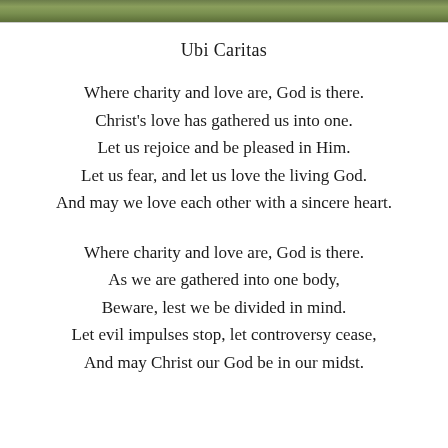[Figure (photo): Narrow horizontal strip showing a green outdoor/nature scene at the top of the page]
Ubi Caritas
Where charity and love are, God is there.
Christ's love has gathered us into one.
Let us rejoice and be pleased in Him.
Let us fear, and let us love the living God.
And may we love each other with a sincere heart.
Where charity and love are, God is there.
As we are gathered into one body,
Beware, lest we be divided in mind.
Let evil impulses stop, let controversy cease,
And may Christ our God be in our midst.